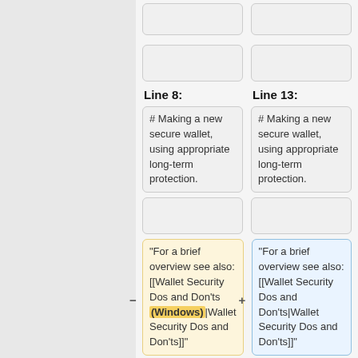Line 8:
Line 13:
# Making a new secure wallet, using appropriate long-term protection.
# Making a new secure wallet, using appropriate long-term protection.
"For a brief overview see also: [[Wallet Security Dos and Don'ts (Windows)|Wallet Security Dos and Don'ts]]"
"For a brief overview see also: [[Wallet Security Dos and Don'ts|Wallet Security Dos and Don'ts]]"
==Gold